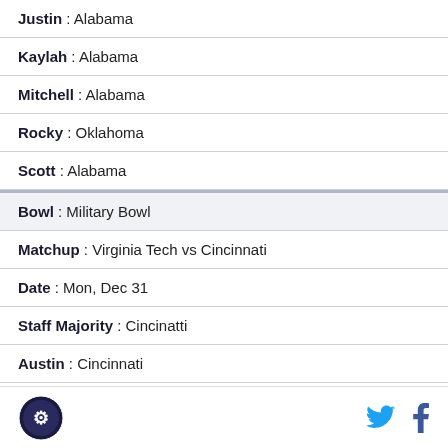| Justin | Alabama |
| Kaylah | Alabama |
| Mitchell | Alabama |
| Rocky | Oklahoma |
| Scott | Alabama |
| Bowl | Military Bowl |
| Matchup | Virginia Tech vs Cincinnati |
| Date | Mon, Dec 31 |
| Staff Majority | Cincinatti |
| Austin | Cincinnati |
| Brandon | Virginia Tech |
Logo | Twitter | Facebook